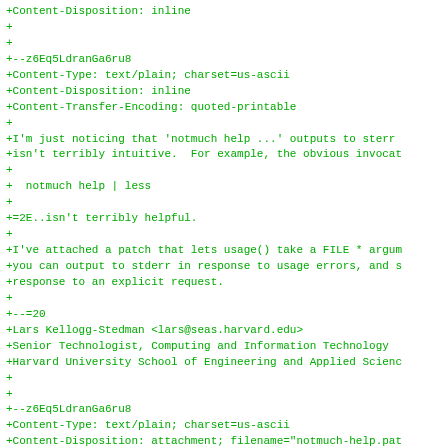+Content-Type: multipart/alternative; boundary=z6Eq5LdranGa6ru8
+Content-Disposition: inline
+
+
+--z6Eq5LdranGa6ru8
+Content-Type: text/plain; charset=us-ascii
+Content-Disposition: inline
+Content-Transfer-Encoding: quoted-printable
+
+I'm just noticing that 'notmuch help ...' outputs to stderr
+isn't terribly intuitive.  For example, the obvious invocat
+
+  notmuch help | less
+
+=2E..isn't terribly helpful.
+
+I've attached a patch that lets usage() take a FILE * argum
+you can output to stderr in response to usage errors, and s
+response to an explicit request.
+
+--=20
+Lars Kellogg-Stedman <lars@seas.harvard.edu>
+Senior Technologist, Computing and Information Technology
+Harvard University School of Engineering and Applied Scienc
+
+
+--z6Eq5LdranGa6ru8
+Content-Type: text/plain; charset=us-ascii
+Content-Disposition: attachment; filename="notmuch-help.pat
+Content-Transfer-Encoding: quoted-printable
+
+diff --git a/notmuch.c b/notmuch.c
+index c47e640..a35cb99 100644